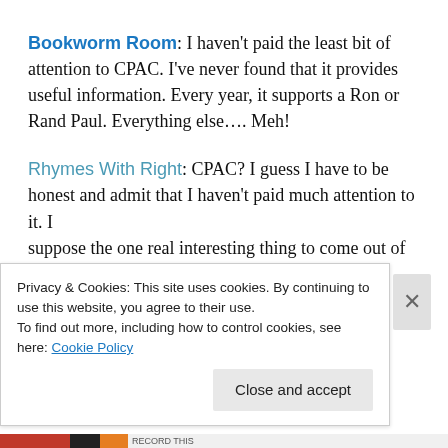Bookworm Room: I haven't paid the least bit of attention to CPAC. I've never found that it provides useful information. Every year, it supports a Ron or Rand Paul. Everything else…. Meh!
Rhymes With Right: CPAC? I guess I have to be honest and admit that I haven't paid much attention to it. I suppose the one real interesting thing to come out of
Privacy & Cookies: This site uses cookies. By continuing to use this website, you agree to their use. To find out more, including how to control cookies, see here: Cookie Policy
Close and accept